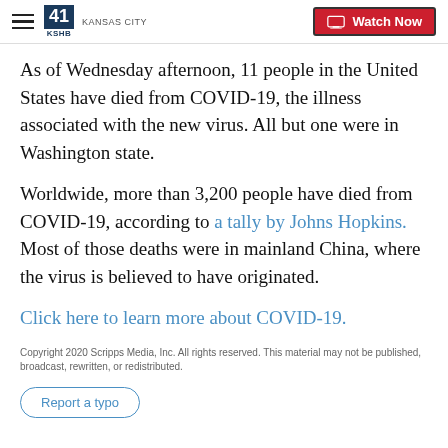KSHB 41 Kansas City | Watch Now
As of Wednesday afternoon, 11 people in the United States have died from COVID-19, the illness associated with the new virus. All but one were in Washington state.
Worldwide, more than 3,200 people have died from COVID-19, according to a tally by Johns Hopkins. Most of those deaths were in mainland China, where the virus is believed to have originated.
Click here to learn more about COVID-19.
Copyright 2020 Scripps Media, Inc. All rights reserved. This material may not be published, broadcast, rewritten, or redistributed.
Report a typo